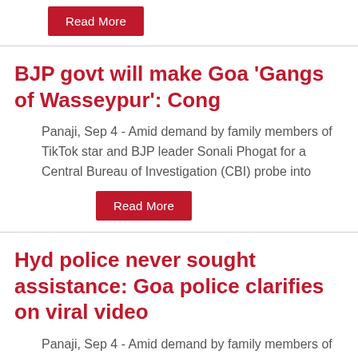Read More
BJP govt will make Goa ‘Gangs of Wasseypur’: Cong
Panaji, Sep 4 - Amid demand by family members of TikTok star and BJP leader Sonali Phogat for a Central Bureau of Investigation (CBI) probe into
Read More
Hyd police never sought assistance: Goa police clarifies on viral video
Panaji, Sep 4 - Amid demand by family members of TikTok star and BJP leader Sonali Phogat for a Central Bureau of Investigation (CBI) probe into